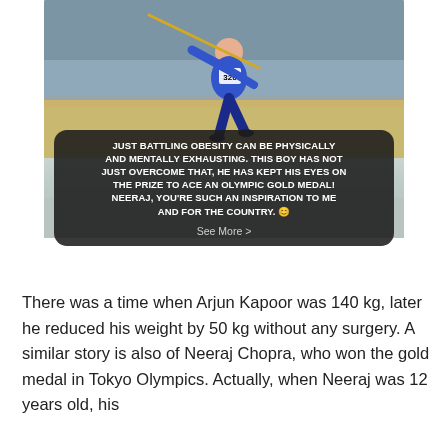[Figure (photo): A javelin thrower wearing a blue jersey with bib number 326, running on a track. Below the photo is a speech bubble overlay with text on a gradient gray background.]
JUST BATTLING OBESITY CAN BE PHYSICALLY AND MENTALLY EXHAUSTING. THIS BOY HAS NOT JUST OVERCOME THAT, HE HAS KEPT HIS EYES ON THE PRIZE TO ACE AN OLYMPIC GOLD MEDAL! NEERAJ, YOU'RE SUCH AN INSPIRATION TO ME AND FOR THE COUNTRY. 😊 See More ›
There was a time when Arjun Kapoor was 140 kg, later he reduced his weight by 50 kg without any surgery. A similar story is also of Neeraj Chopra, who won the gold medal in Tokyo Olympics. Actually, when Neeraj was 12 years old, his